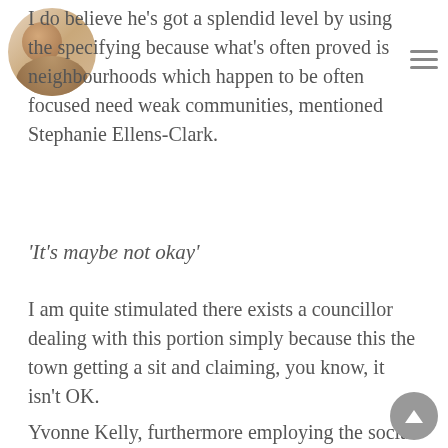I do believe he's got a splendid level by using the specifying because what's often proved is neighbourhoods which happen to be often focused need weak communities, mentioned Stephanie Ellens-Clark.
'It's maybe not okay'
I am quite stimulated there exists a councillor dealing with this portion simply because this the town getting a sit and claiming, you know, it isn't OK.
Yvonne Kelly, furthermore employing the social designing circle, claimed folks who are poor and also the employed inadequate were found to move to payday loan provider, and are generally often repaying interest numbers of 391 per-cent.
Recognize that this is not a person's very first preference in having to pay that sort of monthly interest rate, Kelly stated